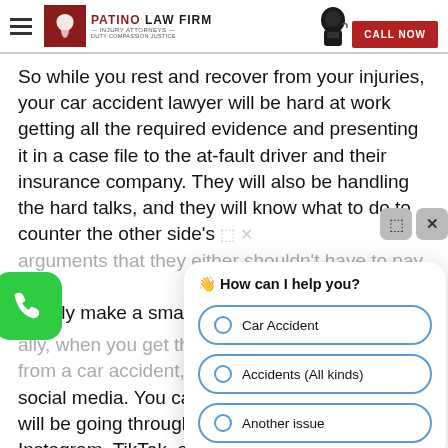Patino Law Firm — Injury Attorneys — Duty Compassion Justice | CALL NOW
So while you rest and recover from your injuries, your car accident lawyer will be hard at work getting all the required evidence and presenting it in a case file to the at-fault driver and their insurance company. They will also be handling the hard talks, and they will know what to do to counter the other side's arguments that they either shouldn't have to pay out or only make a small settlement offer.
Finally, when you get the most from a car accident, make sure you stay off social media. You can bet that the lawyers will be going through your Facebook, Twitter, Instagram, TikTok, and all accounts you have, looking for any evidence that you shouldn't be entitled to as much as they say. This could be a form of
[Figure (screenshot): Chat popup widget with 'How can I help you?' header and three radio button options: Car Accident, Accidents (All kinds), Another issue]
[Figure (illustration): Green phone call button (rounded square) on the left side of the page]